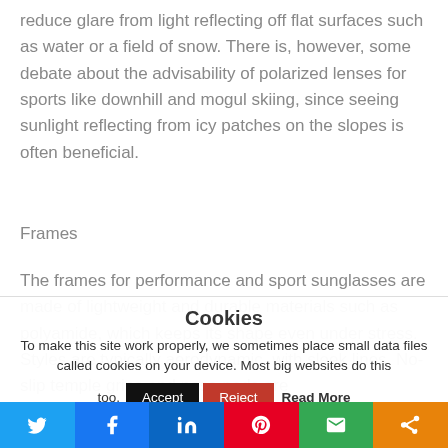reduce glare from light reflecting off flat surfaces such as water or a field of snow. There is, however, some debate about the advisability of polarized lenses for sports like downhill and mogul skiing, since seeing sunlight reflecting from icy patches on the slopes is often beneficial.
Frames
The frames for performance and sport sunglasses are made of lightweight and durable materials such as polyamide, which keeps its shape even under stress. Styles are typically aerodynamic, with sleek lines. No-slip temple grips and nose pads are
Cookies
To make this site work properly, we sometimes place small data files called cookies on your device. Most big websites do this too.
Accept  Reject  Read More